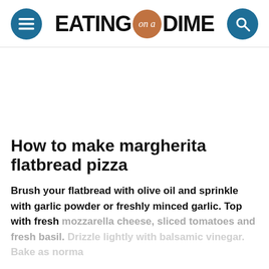EATING on a DIME
How to make margherita flatbread pizza
Brush your flatbread with olive oil and sprinkle with garlic powder or freshly minced garlic. Top with fresh mozzarella cheese, sliced tomatoes and fresh basil. Drizzle lightly with balsamic vinegar. Bake as normal